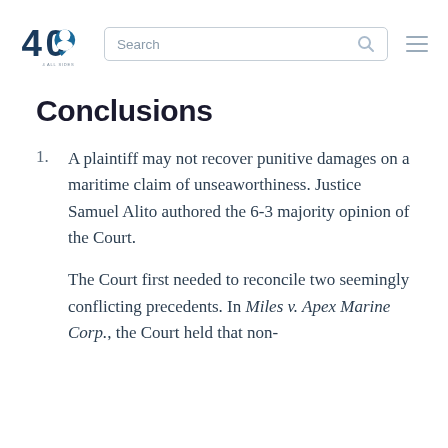40 [logo] | Search | [menu]
Conclusions
A plaintiff may not recover punitive damages on a maritime claim of unseaworthiness. Justice Samuel Alito authored the 6-3 majority opinion of the Court.
The Court first needed to reconcile two seemingly conflicting precedents. In Miles v. Apex Marine Corp., the Court held that non-